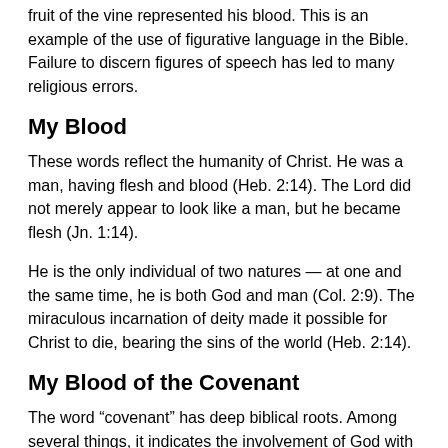fruit of the vine represented his blood. This is an example of the use of figurative language in the Bible. Failure to discern figures of speech has led to many religious errors.
My Blood
These words reflect the humanity of Christ. He was a man, having flesh and blood (Heb. 2:14). The Lord did not merely appear to look like a man, but he became flesh (Jn. 1:14).
He is the only individual of two natures — at one and the same time, he is both God and man (Col. 2:9). The miraculous incarnation of deity made it possible for Christ to die, bearing the sins of the world (Heb. 2:14).
My Blood of the Covenant
The word “covenant” has deep biblical roots. Among several things, it indicates the involvement of God with man.